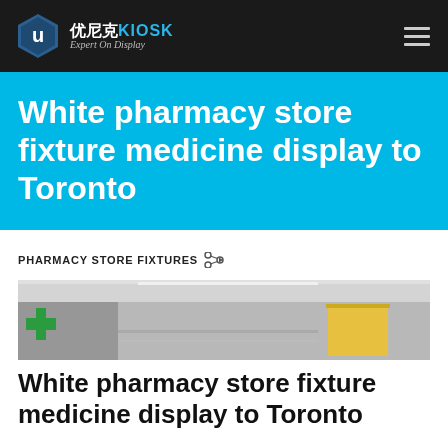优尼克KIOSK Expert On Display
White pharmacy store fixture medicine display to Toronto
PHARMACY STORE FIXTURES
[Figure (photo): Interior of a pharmacy store showing display fixtures with green cross sign on wall and yellow accent panel]
White pharmacy store fixture medicine display to Toronto